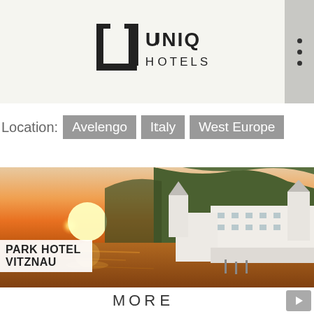[Figure (logo): UNIQ Hotels logo with stylized U letterform in black and the text UNIQ HOTELS]
Location: Avelengo  Italy  West Europe
[Figure (photo): A grand white hotel building with turrets on the shore of a lake at sunset, with green forested mountains behind. Text overlay reads PARK HOTEL VITZNAU.]
MORE